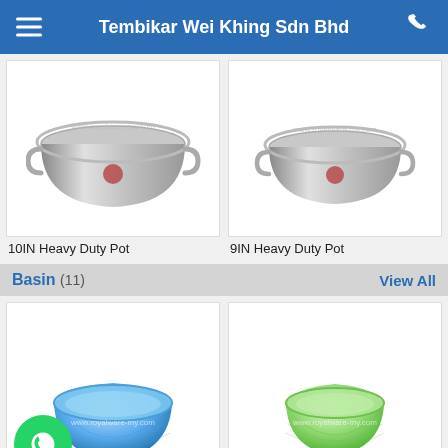Tembikar Wei Khing Sdn Bhd
[Figure (photo): 10IN Heavy Duty Pot - stainless steel pot product image with watermark www.royalware-my.com]
10IN Heavy Duty Pot
[Figure (photo): 9IN Heavy Duty Pot - stainless steel pot product image with watermark www.royalware-my.com]
9IN Heavy Duty Pot
Basin (11)
View All
[Figure (photo): 1009 9" Basin - blue transparent ribbed plastic basin with watermark www.royalware-my.com]
1009 9" Basin
[Figure (photo): 1007 7" Basin - green transparent ribbed plastic basin with watermark www.royalware-my.com]
1007 7" Basin